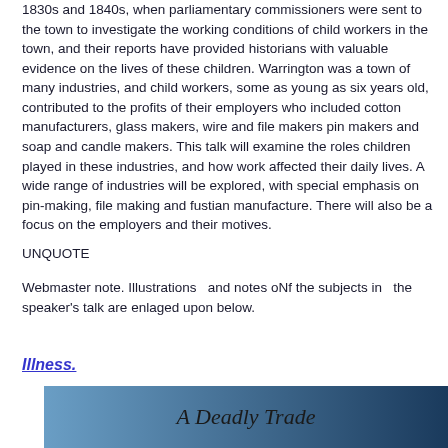1830s and 1840s, when parliamentary commissioners were sent to the town to investigate the working conditions of child workers in the town, and their reports have provided historians with valuable evidence on the lives of these children. Warrington was a town of many industries, and child workers, some as young as six years old, contributed to the profits of their employers who included cotton manufacturers, glass makers, wire and file makers pin makers and soap and candle makers. This talk will examine the roles children played in these industries, and how work affected their daily lives. A wide range of industries will be explored, with special emphasis on pin-making, file making and fustian manufacture. There will also be a focus on the employers and their motives.
UNQUOTE
Webmaster note. Illustrations  and notes oNf the subjects in  the speaker's talk are enlaged upon below.
Illness.
[Figure (other): Blue gradient banner with text 'A Deadly Trade' in italic serif font]